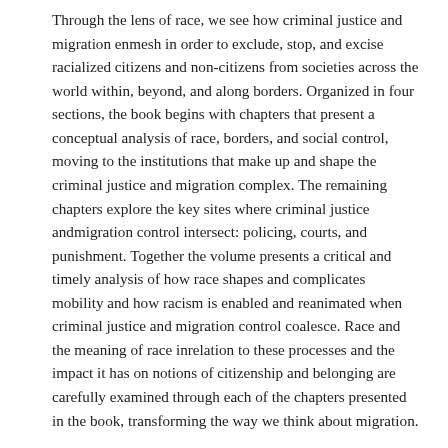Through the lens of race, we see how criminal justice and migration enmesh in order to exclude, stop, and excise racialized citizens and non-citizens from societies across the world within, beyond, and along borders. Organized in four sections, the book begins with chapters that present a conceptual analysis of race, borders, and social control, moving to the institutions that make up and shape the criminal justice and migration complex. The remaining chapters explore the key sites where criminal justice andmigration control intersect: policing, courts, and punishment. Together the volume presents a critical and timely analysis of how race shapes and complicates mobility and how racism is enabled and reanimated when criminal justice and migration control coalesce. Race and the meaning of race inrelation to these processes and the impact it has on notions of citizenship and belonging are carefully examined through each of the chapters presented in the book, transforming the way we think about migration.